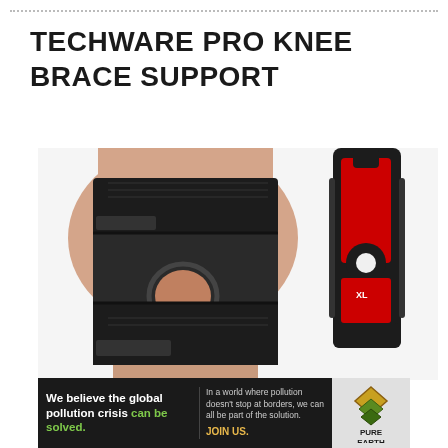TECHWARE PRO KNEE BRACE SUPPORT
[Figure (photo): Close-up photo of a black knee brace support worn on a knee, with an open patella hole. To the right, a separate red and black strap/stabilizer component is shown upright against a white background.]
[Figure (infographic): Advertisement banner: 'We believe the global pollution crisis can be solved.' with Pure Earth logo.]